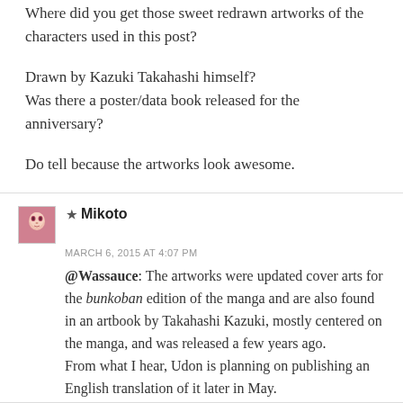Where did you get those sweet redrawn artworks of the characters used in this post?
Drawn by Kazuki Takahashi himself?
Was there a poster/data book released for the anniversary?
Do tell because the artworks look awesome.
★ Mikoto
MARCH 6, 2015 AT 4:07 PM
@Wassauce: The artworks were updated cover arts for the bunkoban edition of the manga and are also found in an artbook by Takahashi Kazuki, mostly centered on the manga, and was released a few years ago.
From what I hear, Udon is planning on publishing an English translation of it later in May.